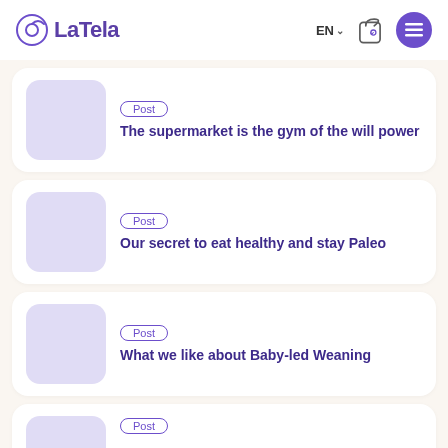LaTela — EN, bag icon, menu button
Post — The supermarket is the gym of the will power
Post — Our secret to eat healthy and stay Paleo
Post — What we like about Baby-led Weaning
Post — (partial card, cut off)